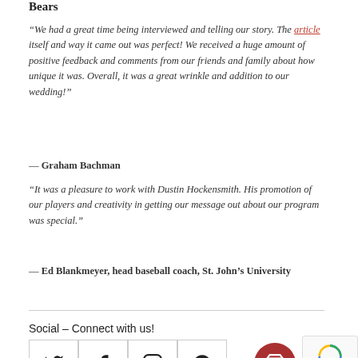Bears
“We had a great time being interviewed and telling our story. The article itself and way it came out was perfect! We received a huge amount of positive feedback and comments from our friends and family about how unique it was. Overall, it was a great wrinkle and addition to our wedding!”
— Graham Bachman
“It was a pleasure to work with Dustin Hockensmith. His promotion of our players and creativity in getting our message out about our program was special.”
— Ed Blankmeyer, head baseball coach, St. John’s University
Social – Connect with us!
[Figure (other): Four social media icon boxes (Twitter, Facebook, Instagram, Pinterest), a red circular cart button, and a reCAPTCHA widget]